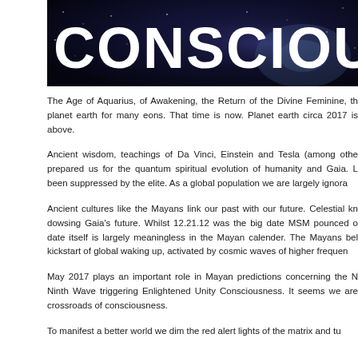[Figure (illustration): Banner image with dark blue/space background showing the word 'CONSCIOUSNESS' in large bold white uppercase letters, partially cropped on the right side]
The Age of Aquarius, of Awakening, the Return of the Divine Feminine, th planet earth for many eons. That time is now. Planet earth circa 2017 is above.
Ancient wisdom, teachings of Da Vinci, Einstein and Tesla (among othe prepared us for the quantum spiritual evolution of humanity and Gaia. L been suppressed by the elite. As a global population we are largely ignora
Ancient cultures like the Mayans link our past with our future. Celestial kn dowsing Gaia's future. Whilst 12.21.12 was the big date MSM pounced o date itself is largely meaningless in the Mayan calender. The Mayans bel kickstart of global waking up, activated by cosmic waves of higher frequen
May 2017 plays an important role in Mayan predictions concerning the N Ninth Wave triggering Enlightened Unity Consciousness. It seems we are crossroads of consciousness.
To manifest a better world we dim the red alert lights of the matrix and tu